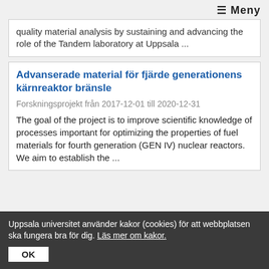≡ Meny
quality material analysis by sustaining and advancing the role of the Tandem laboratory at Uppsala ...
Advanserade material för fjärde generationens kärnreaktor bränsle
Forskningsprojekt från 2017-12-01 till 2020-12-31
The goal of the project is to improve scientific knowledge of processes important for optimizing the properties of fuel materials for fourth generation (GEN IV) nuclear reactors. We aim to establish the ...
Uppsala universitet använder kakor (cookies) för att webbplatsen ska fungera bra för dig. Läs mer om kakor. OK